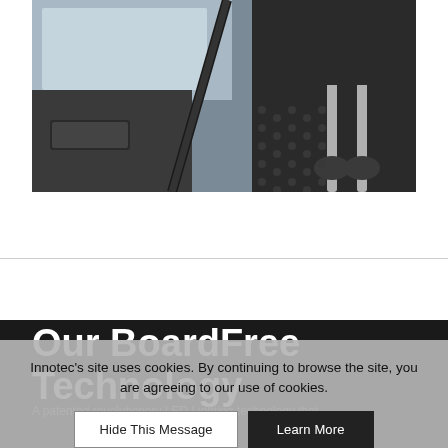[Figure (photo): Close-up interior photo of a car showing the back of a seat with headrest on metal poles, seatbelt strap visible, dark fabric seat material with geometric pattern, and car door/window in background.]
Our BoardFree Technology
A patented revolutionary LED Lighting technology that
Innotec's site uses cookies. By continuing to browse the site, you are agreeing to our use of cookies.
Hide This Message
Learn More